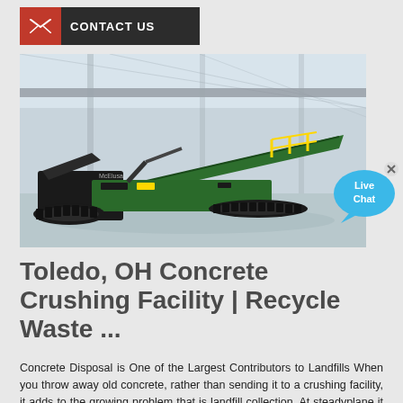CONTACT US
[Figure (photo): Large green mobile concrete crushing machine parked in an industrial warehouse/factory building with overhead crane and steel structure roof]
[Figure (infographic): Live Chat speech bubble in blue with text 'Live Chat' and a small X close button]
Toledo, OH Concrete Crushing Facility | Recycle Waste ...
Concrete Disposal is One of the Largest Contributors to Landfills When you throw away old concrete, rather than sending it to a crushing facility, it adds to the growing problem that is landfill collection. At steadyplane it ...